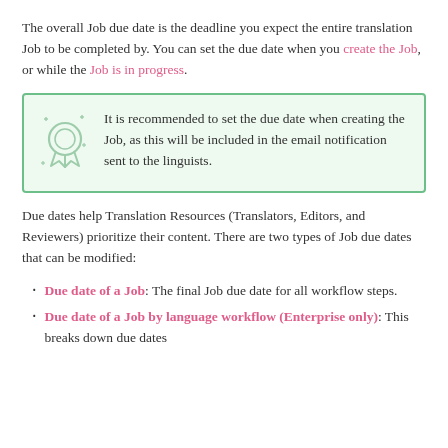The overall Job due date is the deadline you expect the entire translation Job to be completed by. You can set the due date when you create the Job, or while the Job is in progress.
[Figure (infographic): Green-bordered info box with a recommendation icon (medal/badge) and text: It is recommended to set the due date when creating the Job, as this will be included in the email notification sent to the linguists.]
Due dates help Translation Resources (Translators, Editors, and Reviewers) prioritize their content. There are two types of Job due dates that can be modified:
Due date of a Job: The final Job due date for all workflow steps.
Due date of a Job by language workflow (Enterprise only): This breaks down due dates based on language workflow.